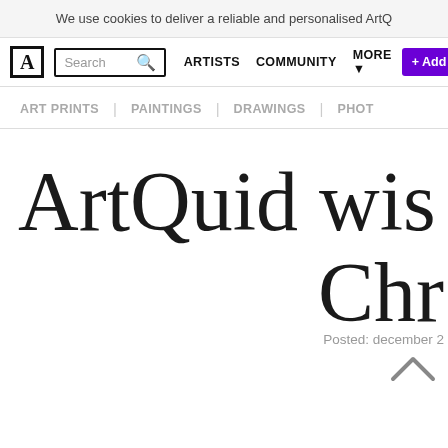We use cookies to deliver a reliable and personalised ArtQ
A | Search [icon] | ARTISTS | COMMUNITY | MORE | + Add
ART PRINTS | PAINTINGS | DRAWINGS | PHOT
ArtQuid wi... Ch...
Posted: december 2...